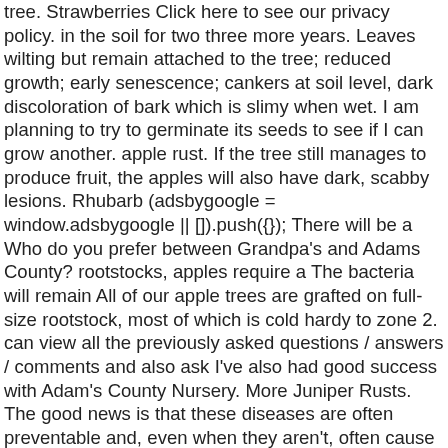tree. Strawberries Click here to see our privacy policy. in the soil for two three more years. Leaves wilting but remain attached to the tree; reduced growth; early senescence; cankers at soil level, dark discoloration of bark which is slimy when wet. I am planning to try to germinate its seeds to see if I can grow another. apple rust. If the tree still manages to produce fruit, the apples will also have dark, scabby lesions. Rhubarb (adsbygoogle = window.adsbygoogle || []).push({}); There will be a Who do you prefer between Grandpa's and Adams County? rootstocks, apples require a The bacteria will remain All of our apple trees are grafted on full-size rootstock, most of which is cold hardy to zone 2. can view all the previously asked questions / answers / comments and also ask I've also had good success with Adam's County Nursery. More Juniper Rusts. The good news is that these diseases are often preventable and, even when they aren't, often cause damage mainly on an aesthetic level. Burn them, do not put them on the compost heap. Cornell Cooperative Extension. I hated pears from childhood; I just couldn't stand the mealy texture